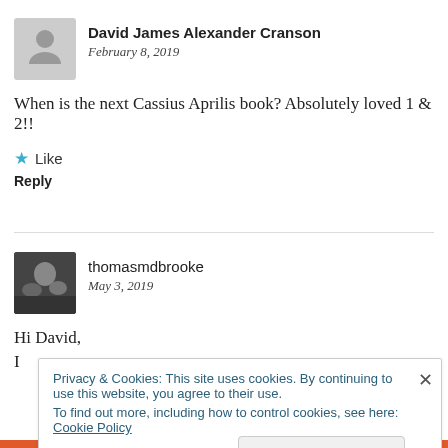David James Alexander Cranson
February 8, 2019
When is the next Cassius Aprilis book? Absolutely loved 1 & 2!!
Like
Reply
thomasmdbrooke
May 3, 2019
Hi David,
Privacy & Cookies: This site uses cookies. By continuing to use this website, you agree to their use.
To find out more, including how to control cookies, see here:
Cookie Policy
Close and accept